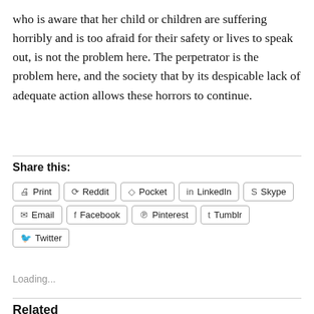who is aware that her child or children are suffering horribly and is too afraid for their safety or lives to speak out, is not the problem here. The perpetrator is the problem here, and the society that by its despicable lack of adequate action allows these horrors to continue.
Share this:
Print
Reddit
Pocket
LinkedIn
Skype
Email
Facebook
Pinterest
Tumblr
Twitter
Loading...
Related